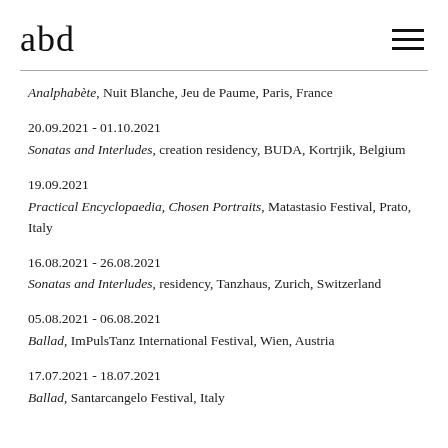abd
Analphabète, Nuit Blanche, Jeu de Paume, Paris, France
20.09.2021 - 01.10.2021
Sonatas and Interludes, creation residency, BUDA, Kortrjik, Belgium
19.09.2021
Practical Encyclopaedia, Chosen Portraits, Matastasio Festival, Prato, Italy
16.08.2021 - 26.08.2021
Sonatas and Interludes, residency, Tanzhaus, Zurich, Switzerland
05.08.2021 - 06.08.2021
Ballad, ImPulsTanz International Festival, Wien, Austria
17.07.2021 - 18.07.2021
Ballad, Santarcangelo Festival, Italy